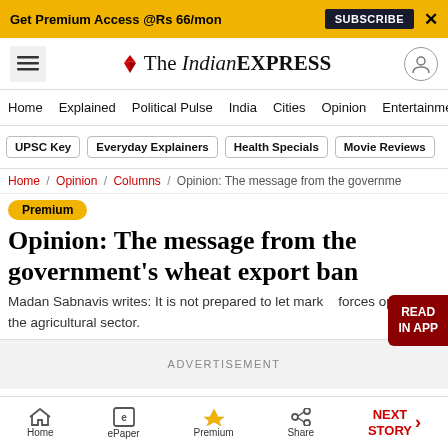Get Premium Access @Rs 66/mon  SUBSCRIBE  X
The Indian EXPRESS
Home / Explained / Political Pulse / India / Cities / Opinion / Entertainment
UPSC Key  Everyday Explainers  Health Specials  Movie Reviews
Home / Opinion / Columns / Opinion: The message from the government
Premium
Opinion: The message from the government's wheat export ban
Madan Sabnavis writes: It is not prepared to let market forces operate in the agricultural sector.
ADVERTISEMENT
Home  ePaper  Premium  Share  NEXT STORY